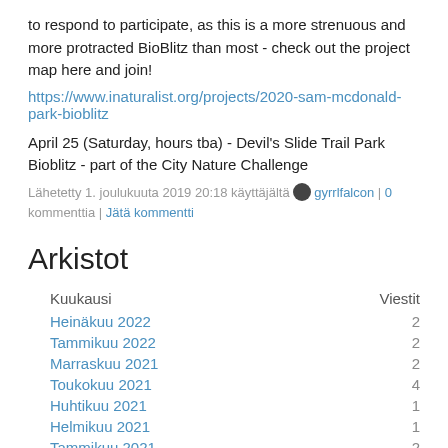to respond to participate, as this is a more strenuous and more protracted BioBlitz than most - check out the project map here and join!
https://www.inaturalist.org/projects/2020-sam-mcdonald-park-bioblitz
April 25 (Saturday, hours tba) - Devil's Slide Trail Park Bioblitz - part of the City Nature Challenge
Lähetetty 1. joulukuuta 2019 20:18 käyttäjältä gyrrlfalcon | 0 kommenttia | Jätä kommentti
Arkistot
| Kuukausi | Viestit |
| --- | --- |
| Heinäkuu 2022 | 2 |
| Tammikuu 2022 | 2 |
| Marraskuu 2021 | 2 |
| Toukokuu 2021 | 4 |
| Huhtikuu 2021 | 1 |
| Helmikuu 2021 | 1 |
| Tammikuu 2021 | 2 |
| Elokuu 2020 | 1 |
| Toukokuu 2020 | 3 |